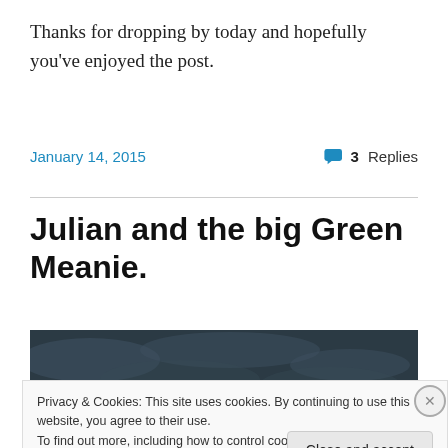Thanks for dropping by today and hopefully you've enjoyed the post.
January 14, 2015   💬 3 Replies
Julian and the big Green Meanie.
[Figure (photo): Dark landscape photo with overcast sky and faint light in the center]
Privacy & Cookies: This site uses cookies. By continuing to use this website, you agree to their use.
To find out more, including how to control cookies, see here: Cookie Policy
Close and accept